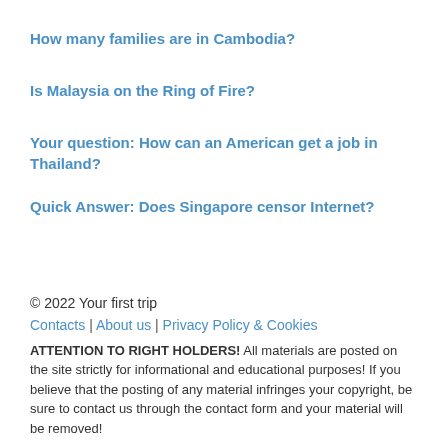How many families are in Cambodia?
Is Malaysia on the Ring of Fire?
Your question: How can an American get a job in Thailand?
Quick Answer: Does Singapore censor Internet?
© 2022 Your first trip
Contacts | About us | Privacy Policy & Cookies
ATTENTION TO RIGHT HOLDERS! All materials are posted on the site strictly for informational and educational purposes! If you believe that the posting of any material infringes your copyright, be sure to contact us through the contact form and your material will be removed!